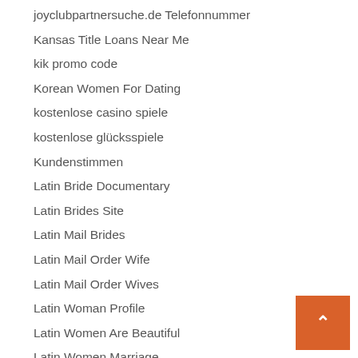joyclubpartnersuche.de Telefonnummer
Kansas Title Loans Near Me
kik promo code
Korean Women For Dating
kostenlose casino spiele
kostenlose glücksspiele
Kundenstimmen
Latin Bride Documentary
Latin Brides Site
Latin Mail Brides
Latin Mail Order Wife
Latin Mail Order Wives
Latin Woman Profile
Latin Women Are Beautiful
Latin Women Marriage